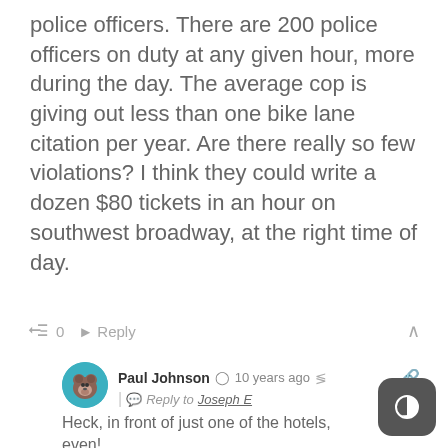police officers. There are 200 police officers on duty at any given hour, more during the day. The average cop is giving out less than one bike lane citation per year. Are there really so few violations? I think they could write a dozen $80 tickets in an hour on southwest broadway, at the right time of day.
👍 0  ➜ Reply  ∧
Paul Johnson  🕐 10 years ago  🔗
| ↩ Reply to Joseph E
Heck, in front of just one of the hotels, even!
👍 0  ➜ Reply